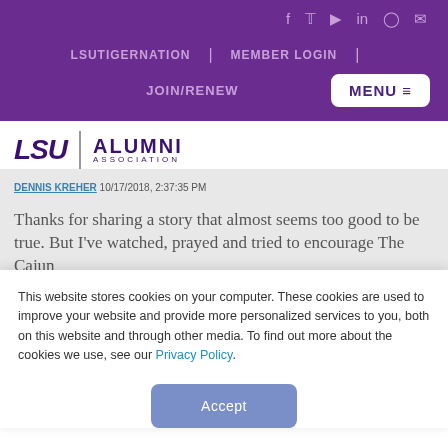Social icons: f, twitter, youtube, in, instagram, email
LSUTIGERNATION | MEMBER LOGIN | JOIN/RENEW | MENU ≡
[Figure (logo): LSU Alumni Association logo with 'LSU' in bold italic purple and 'ALUMNI ASSOCIATION' text]
DENNIS KREHER 10/17/2018, 2:37:35 PM
Thanks for sharing a story that almost seems too good to be true. But I've watched, prayed and tried to encourage The Cajun
This website stores cookies on your computer. These cookies are used to improve your website and provide more personalized services to you, both on this website and through other media. To find out more about the cookies we use, see our Privacy Policy.
Accept